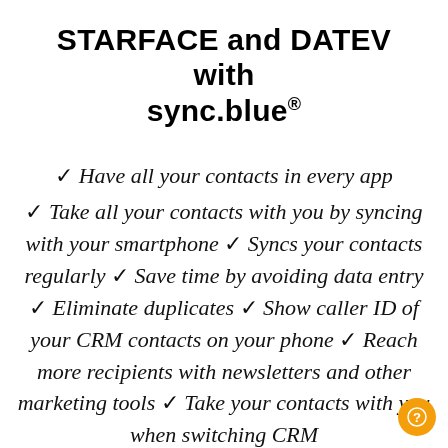STARFACE and DATEV with sync.blue®
✓ Have all your contacts in every app
✓ Take all your contacts with you by syncing with your smartphone ✓ Syncs your contacts regularly ✓ Save time by avoiding data entry ✓ Eliminate duplicates ✓ Show caller ID of your CRM contacts on your phone ✓ Reach more recipients with newsletters and other marketing tools ✓ Take your contacts with you when switching CRM